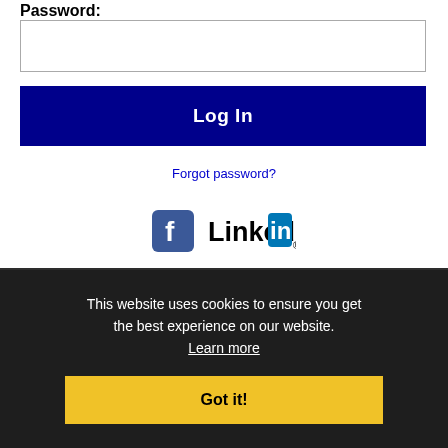Password:
[password input field]
Log In
Forgot password?
[Figure (logo): Facebook and LinkedIn social login icons]
Get the latest Massachusetts jobs by following @TechnetMA on Twitter!
Springfield RSS job feeds
This website uses cookies to ensure you get the best experience on our website. Learn more
Got it!